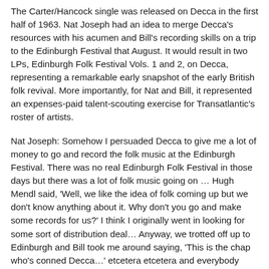The Carter/Hancock single was released on Decca in the first half of 1963. Nat Joseph had an idea to merge Decca's resources with his acumen and Bill's recording skills on a trip to the Edinburgh Festival that August. It would result in two LPs, Edinburgh Folk Festival Vols. 1 and 2, on Decca, representing a remarkable early snapshot of the early British folk revival. More importantly, for Nat and Bill, it represented an expenses-paid talent-scouting exercise for Transatlantic's roster of artists.
Nat Joseph: Somehow I persuaded Decca to give me a lot of money to go and record the folk music at the Edinburgh Festival. There was no real Edinburgh Folk Festival in those days but there was a lot of folk music going on … Hugh Mendl said, 'Well, we like the idea of folk coming up but we don't know anything about it. Why don't you go and make some records for us?' I think I originally went in looking for some sort of distribution deal… Anyway, we trotted off up to Edinburgh and Bill took me around saying, 'This is the chap who's conned Decca…' etcetera etcetera and everybody thought it was a huge laugh. They were wonderful people and I remember the parties were incredible … We got through 52 different kinds of malt whisky and they said there